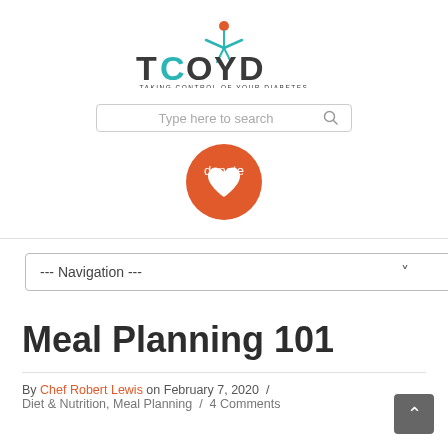[Figure (logo): TCOYD - Taking Control of Your Diabetes logo with teal/blue T-C-O-Y-D letters and a stylized red/orange figure above the Y]
[Figure (screenshot): Search bar with placeholder text 'Type here to search' and a search icon]
[Figure (logo): Orange circular donate button with a white heart icon and 'donate' text]
[Figure (screenshot): Navigation dropdown selector showing '--- Navigation ---']
Meal Planning 101
By Chef Robert Lewis on February 7, 2020  /
Diet & Nutrition, Meal Planning  /  4 Comments